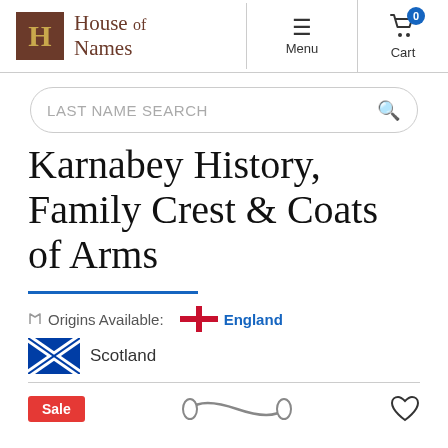House of Names — Menu — Cart (0)
LAST NAME SEARCH
Karnabey History, Family Crest & Coats of Arms
Origins Available: England  Scotland